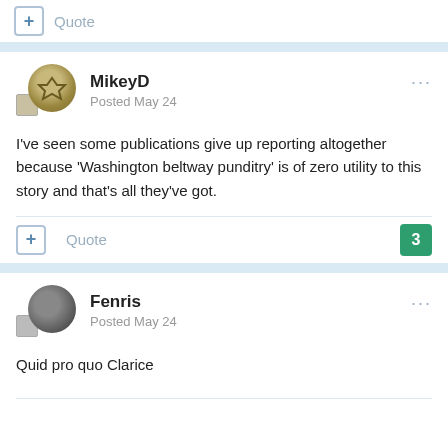Quote
MikeyD
Posted May 24
I've seen some publications give up reporting altogether because 'Washington beltway punditry' is of zero utility to this story and that's all they've got.
Quote 3
Fenris
Posted May 24
Quid pro quo Clarice